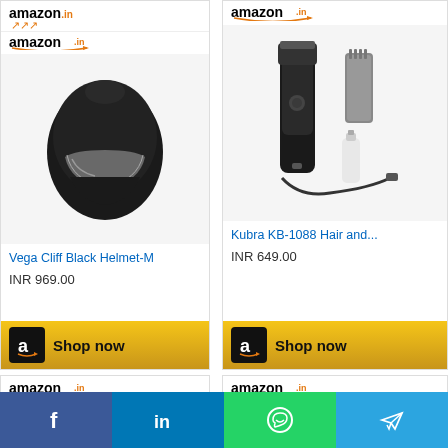[Figure (screenshot): Amazon.in product card for Vega Cliff Black Helmet-M showing product image, price INR 969.00 and Shop now button]
Vega Cliff Black Helmet-M
INR 969.00
[Figure (screenshot): Amazon.in product card for Kubra KB-1088 Hair and... showing product image, price INR 649.00 and Shop now button]
Kubra KB-1088 Hair and...
INR 649.00
[Figure (logo): Amazon.in Books logo with orange background]
[Figure (screenshot): Amazon.in product card partially visible at bottom right]
[Figure (other): Social sharing bar with Facebook, LinkedIn, WhatsApp and Telegram icons]